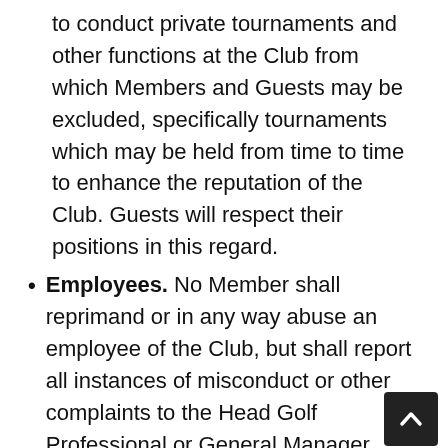to conduct private tournaments and other functions at the Club from which Members and Guests may be excluded, specifically tournaments which may be held from time to time to enhance the reputation of the Club. Guests will respect their positions in this regard.
Employees. No Member shall reprimand or in any way abuse an employee of the Club, but shall report all instances of misconduct or other complaints to the Head Golf Professional or General Manager. Employees are not permitted to leave their stations, and Members are requested not to send employees on errands without consulting the appropriate supervisor. Any employee not rendering courteous and prompt service should be reported to the Head Golf...